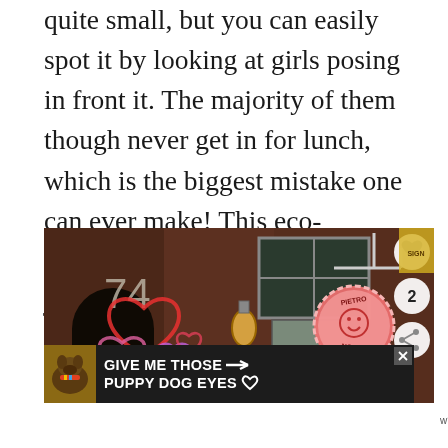quite small, but you can easily spot it by looking at girls posing in front it. The majority of them though never get in for lunch, which is the biggest mistake one can ever make! This eco-friendly place offers a menu of just a few pasta and salad, but they're all delicious!
[Figure (photo): Photo of Pietro Nolita restaurant exterior at 74, a brick building with colorful heart drawings on the wall, a circular pink Pietro Nolita sign hanging from a rod, and social media interface buttons (heart, share, count) on the right side. An advertisement banner at the bottom reads GIVE ME THOSE PUPPY DOG EYES.]